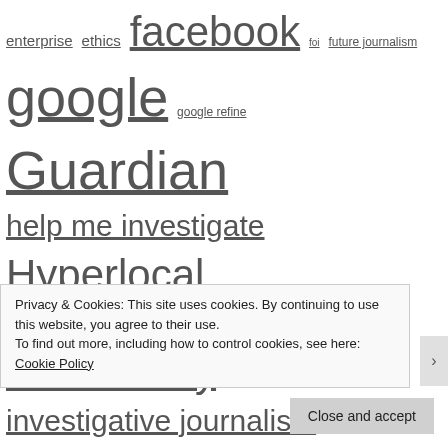enterprise ethics facebook foi future journalism google google refine Guardian help me investigate Hyperlocal Hyperlocal Voices Independent interactivity investigative journalism journalism journalism education law linking local newspapers mapping myspace narrative New York Times onlinejournalismblog online journalism education online journalism students online video open data podcasts privacy research RSS scraperwiki scraping security Sky social media social networking Something for the weekend statistics Telegraph the sun Times tony hirst training Trinity Mirror twitter user generated content verification video visualisation
Privacy & Cookies: This site uses cookies. By continuing to use this website, you agree to their use.
To find out more, including how to control cookies, see here: Cookie Policy